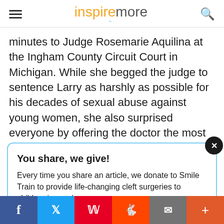inspiremore
minutes to Judge Rosemarie Aquilina at the Ingham County Circuit Court in Michigan. While she begged the judge to sentence Larry as harshly as possible for his decades of sexual abuse against young women, she also surprised everyone by offering the doctor the most precious gift anyone can offer someone who
You share, we give!
Every time you share an article, we donate to Smile Train to provide life-changing cleft surgeries to children in need.
$15.96 raised today! Learn more here.
f  Twitter  Pinterest  Reddit  Email  +